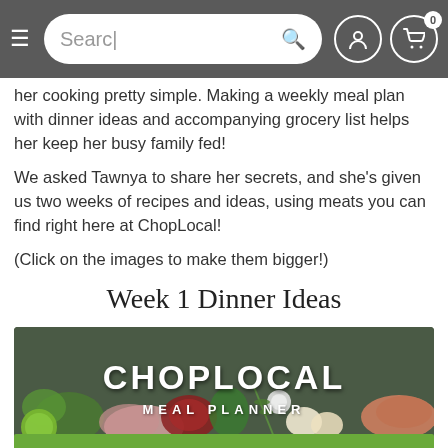Search | [navigation bar with hamburger menu, search box, user icon, cart icon with 0]
her cooking pretty simple. Making a weekly meal plan with dinner ideas and accompanying grocery list helps her keep her busy family fed!
We asked Tawnya to share her secrets, and she's given us two weeks of recipes and ideas, using meats you can find right here at ChopLocal!
(Click on the images to make them bigger!)
Week 1 Dinner Ideas
[Figure (photo): ChopLocal Meal Planner banner image with food items including meat, eggs, herbs, vegetables, and fish on a dark background]